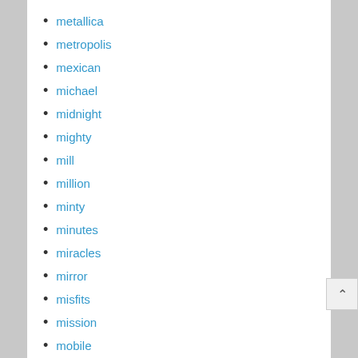metallica
metropolis
mexican
michael
midnight
mighty
mill
million
minty
minutes
miracles
mirror
misfits
mission
mobile
modern
mole